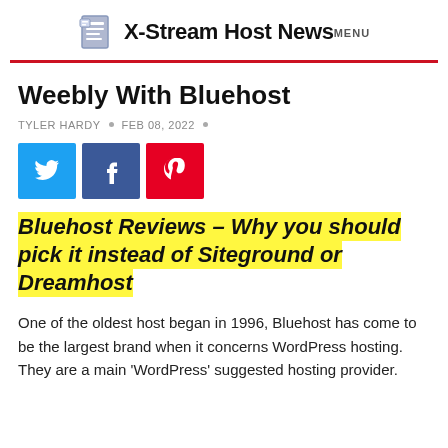X-Stream Host News MENU
Weebly With Bluehost
TYLER HARDY • FEB 08, 2022 •
[Figure (infographic): Three social share buttons: Twitter (blue), Facebook (dark blue), Pinterest (red)]
Bluehost Reviews – Why you should pick it instead of Siteground or Dreamhost
One of the oldest host began in 1996, Bluehost has come to be the largest brand when it concerns WordPress hosting. They are a main 'WordPress' suggested hosting provider.